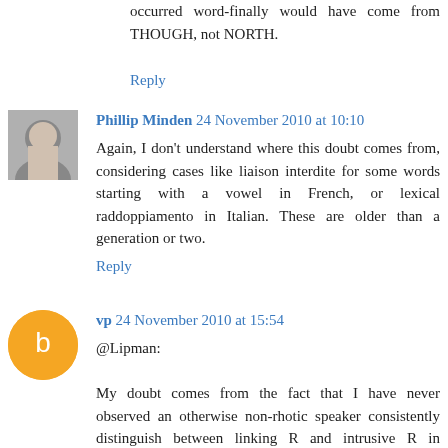occurred word-finally would have come from THOUGH, not NORTH.
Reply
Phillip Minden 24 November 2010 at 10:10
Again, I don't understand where this doubt comes from, considering cases like liaison interdite for some words starting with a vowel in French, or lexical raddoppiamento in Italian. These are older than a generation or two.
Reply
vp 24 November 2010 at 15:54
@Lipman:
My doubt comes from the fact that I have never observed an otherwise non-rhotic speaker consistently distinguish between linking R and intrusive R in spontaneous speech. This is why I will once again repeat my appeal for actual empirical evidence that such speakers exist, or have